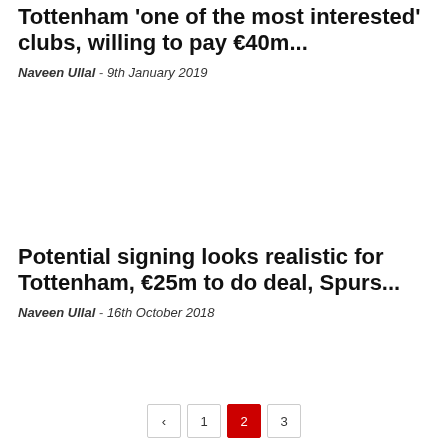Tottenham 'one of the most interested' clubs, willing to pay €40m...
Naveen Ullal  -  9th January 2019
[Figure (photo): Blank image placeholder area for first article]
Potential signing looks realistic for Tottenham, €25m to do deal, Spurs...
Naveen Ullal  -  16th October 2018